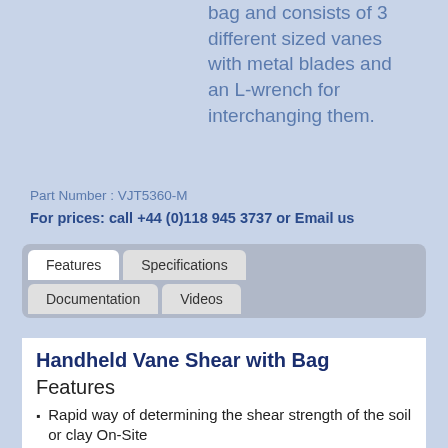bag and consists of 3 different sized vanes with metal blades and an L-wrench for interchanging them.
Part Number : VJT5360-M
For prices: call +44 (0)118 945 3737 or Email us
[Figure (screenshot): Tab navigation bar with tabs: Features (active/white), Specifications, Documentation, Videos on a gray background]
Handheld Vane Shear with Bag Features
Rapid way of determining the shear strength of the soil or clay On-Site